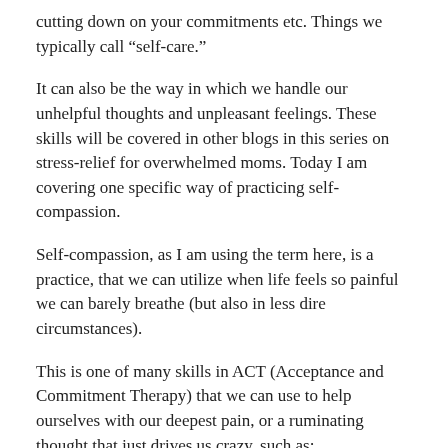cutting down on your commitments etc. Things we typically call “self-care.”
It can also be the way in which we handle our unhelpful thoughts and unpleasant feelings. These skills will be covered in other blogs in this series on stress-relief for overwhelmed moms. Today I am covering one specific way of practicing self-compassion.
Self-compassion, as I am using the term here, is a practice, that we can utilize when life feels so painful we can barely breathe (but also in less dire circumstances).
This is one of many skills in ACT (Acceptance and Commitment Therapy) that we can use to help ourselves with our deepest pain, or a ruminating thought that just drives us crazy, such as:
“I’m a bad mom.”
“I’m lousy at my job.”